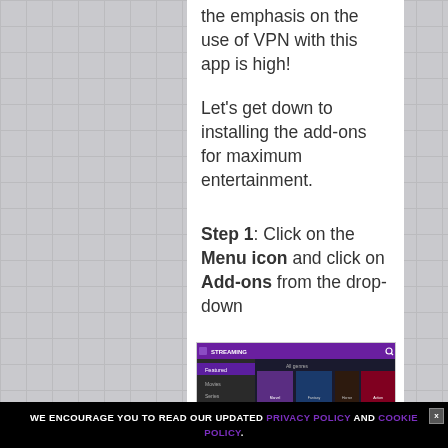the emphasis on the use of VPN with this app is high!
Let's get down to installing the add-ons for maximum entertainment.
Step 1: Click on the Menu icon and click on Add-ons from the drop-down
[Figure (screenshot): Screenshot of a streaming app interface showing a purple top bar, a left sidebar menu with items like Movies, Series, TV Channels, etc., and a main content area showing movie/show thumbnails including Glass.]
WE ENCOURAGE YOU TO READ OUR UPDATED PRIVACY POLICY AND COOKIE POLICY.